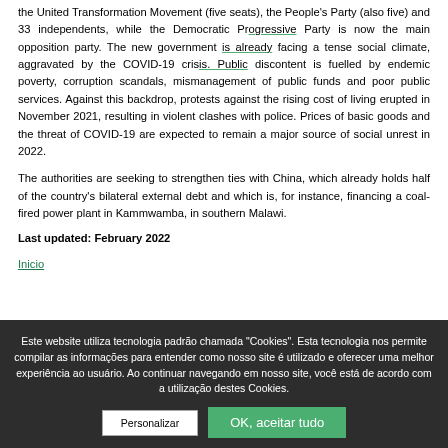the United Transformation Movement (five seats), the People's Party (also five) and 33 independents, while the Democratic Progressive Party is now the main opposition party. The new government is already facing a tense social climate, aggravated by the COVID-19 crisis. Public discontent is fuelled by endemic poverty, corruption scandals, mismanagement of public funds and poor public services. Against this backdrop, protests against the rising cost of living erupted in November 2021, resulting in violent clashes with police. Prices of basic goods and the threat of COVID-19 are expected to remain a major source of social unrest in 2022.
The authorities are seeking to strengthen ties with China, which already holds half of the country's bilateral external debt and which is, for instance, financing a coal-fired power plant in Kammwamba, in southern Malawi.
Last updated: February 2022
Inicio
Este website utiliza tecnologia padrão chamada "Cookies". Esta tecnologia nos permite compilar as informações para entender como nosso site é utilizado e oferecer uma melhor experiência ao usuário. Ao continuar navegando em nosso site, você está de acordo com a utilização destes Cookies.